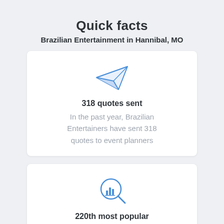Quick facts
Brazilian Entertainment in Hannibal, MO
[Figure (illustration): Paper airplane / send icon in blue outline style]
318 quotes sent
In the past year, Brazilian Entertainers have sent 318 quotes to event planners
[Figure (illustration): Magnifying glass with bar chart icon in blue outline style]
220th most popular